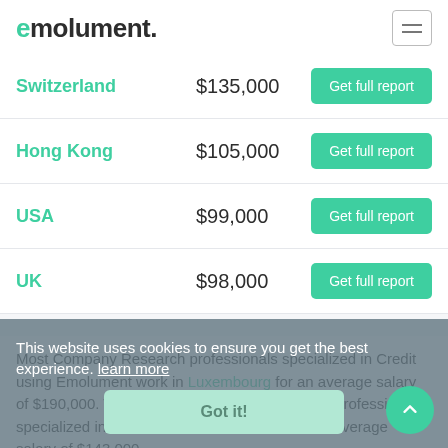emolument.
| Country | Salary | Action |
| --- | --- | --- |
| Switzerland | $135,000 | Get full report |
| Hong Kong | $105,000 | Get full report |
| USA | $99,000 | Get full report |
| UK | $98,000 | Get full report |
Most Company Research professionals specialized in Credit using Emolument work in Luxembourg for an average salary of $190,000. The best paid Company Research professionals specialized in Credit work in Netherlands for an average salary of $143,000.
This website uses cookies to ensure you get the best experience. learn more
Got it!